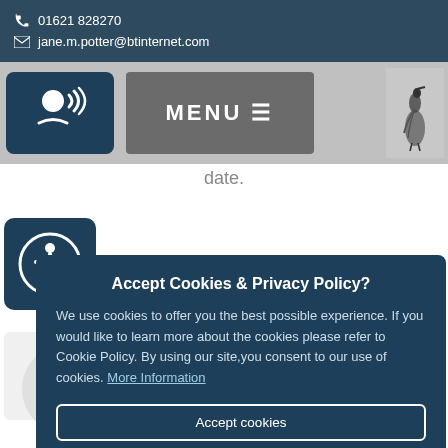📞 01621 828270
✉ jane.m.potter@btinternet.com
[Figure (screenshot): Navigation bar with accessibility icon, MENU button with hamburger icon, and bird logo on right]
date.
[Figure (screenshot): Cookie consent modal dialog with title 'Accept Cookies & Privacy Policy?', body text, and two buttons: 'Accept cookies' and 'Customise cookies']
13
Pu
November 2020
GREEN ROAD